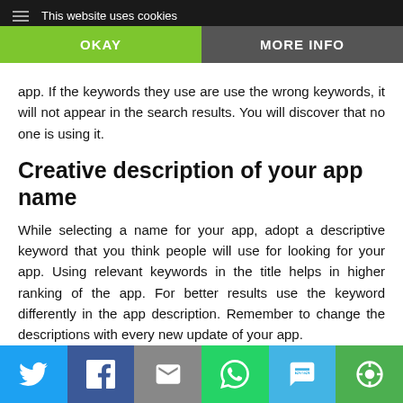This website uses cookies
app. If the keywords they use are use the wrong keywords, it will not appear in the search results. You will discover that no one is using it.
Creative description of your app name
While selecting a name for your app, adopt a descriptive keyword that you think people will use for looking for your app. Using relevant keywords in the title helps in higher ranking of the app. For better results use the keyword differently in the app description. Remember to change the descriptions with every new update of your app.
Use a catchy icon
[Figure (infographic): Social sharing bar with Twitter, Facebook, Email, WhatsApp, SMS, and Print icons]